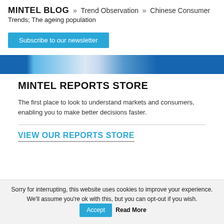MINTEL BLOG » Trend Observation » Chinese Consumer Trends; The ageing population
Subscribe to our newsletter
[Figure (illustration): Decorative blue and white banner image with blurred content]
MINTEL REPORTS STORE
The first place to look to understand markets and consumers, enabling you to make better decisions faster.
VIEW OUR REPORTS STORE
Sorry for interrupting, this website uses cookies to improve your experience. We'll assume you're ok with this, but you can opt-out if you wish. Accept Read More